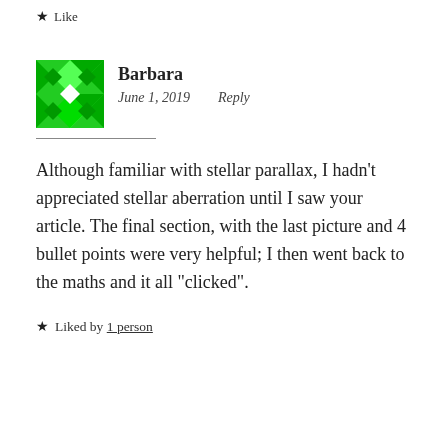Like
Barbara
June 1, 2019   Reply
Although familiar with stellar parallax, I hadn't appreciated stellar aberration until I saw your article. The final section, with the last picture and 4 bullet points were very helpful; I then went back to the maths and it all “clicked”.
Liked by 1 person